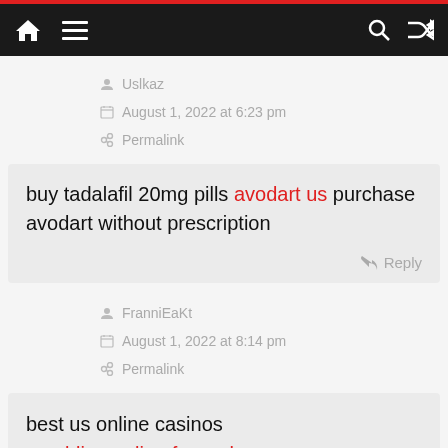Navigation bar with home, menu, search, shuffle icons
Uslkaz
August 1, 2022 at 6:23 pm
Permalink
buy tadalafil 20mg pills avodart us purchase avodart without prescription
Reply
FranniEaKt
August 1, 2022 at 8:14 pm
Permalink
best us online casinos
gambling online for real money
online real casino